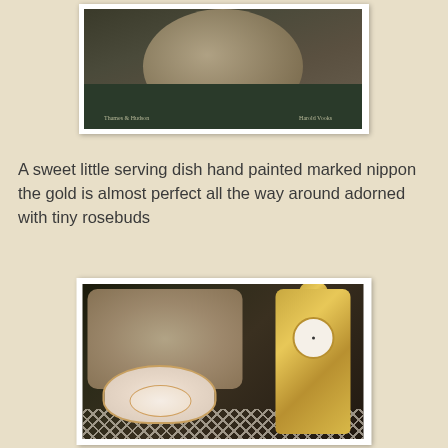[Figure (photo): A photo of a textured lampshade or rounded object with bumpy surface, sitting on top of a dark book. The book shows text including 'Thames & Hudson' and 'Harold Vooks' on its cover.]
A sweet little serving dish hand painted marked nippon the gold is almost perfect all the way around adorned with tiny rosebuds
[Figure (photo): A photo of an antique porcelain serving dish with hand-painted rosebuds and gold trim (marked Nippon), alongside an ornate gilded brass mantel clock with an elaborate baroque-style frame, sitting on a lace doily. A round hatbox or ceramic container is visible in the background.]